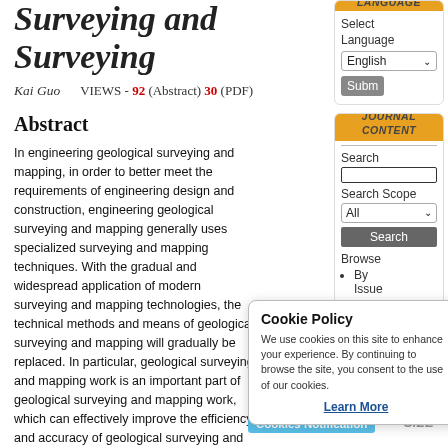Surveying and Surveying
Kai Guo    VIEWS - 92 (Abstract) 30 (PDF)
Abstract
In engineering geological surveying and mapping, in order to better meet the requirements of engineering design and construction, engineering geological surveying and mapping generally uses specialized surveying and mapping techniques. With the gradual and widespread application of modern surveying and mapping technologies, the technical methods and means of geological surveying and mapping will gradually be replaced. In particular, geological surveying and mapping work is an important part of geological surveying and mapping work, which can effectively improve the efficiency and accuracy of geological surveying and mapping work, thereby avoiding errors caused by human records, especially when conducting research and analyzing the distribution of rock formations and minerals in the area. Only by using image positioning technology can we accurately locate the minerals and rock formations in the area, determine the basic attributes of their geology, ensure the progress of geological surveying and mapping, and reduce the consumption of resources. Therefore, the paper analyzes the application of remote sensing images in geological surveying and mapping, in order to
LANGUAGE
Select Language
English
Submit
JOURNAL CONTENT
Search
Search Scope
All
Search
Browse
By Issue
Cookie Policy
We use cookies on this site to enhance your experience. By continuing to browse the site, you consent to the use of our cookies.
Learn More
Cookies Notification
SIZE